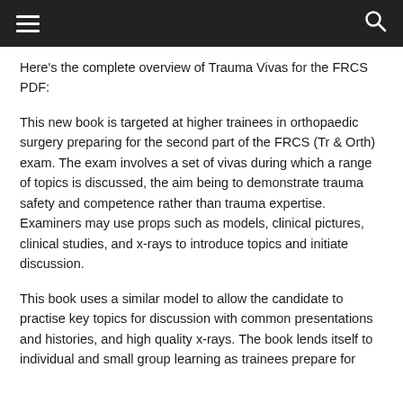[Navigation bar with hamburger menu and search icon]
Here's the complete overview of Trauma Vivas for the FRCS PDF:
This new book is targeted at higher trainees in orthopaedic surgery preparing for the second part of the FRCS (Tr & Orth) exam. The exam involves a set of vivas during which a range of topics is discussed, the aim being to demonstrate trauma safety and competence rather than trauma expertise. Examiners may use props such as models, clinical pictures, clinical studies, and x-rays to introduce topics and initiate discussion.
This book uses a similar model to allow the candidate to practise key topics for discussion with common presentations and histories, and high quality x-rays. The book lends itself to individual and small group learning as trainees prepare for